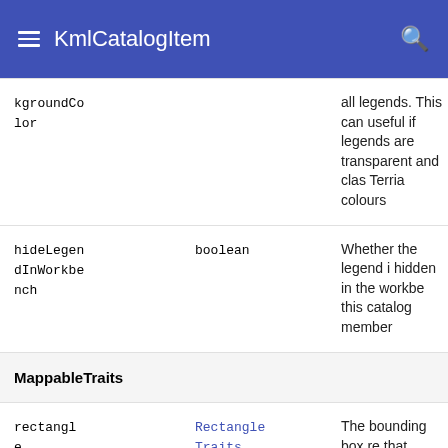KmlCatalogItem
| Name | Type | Description |
| --- | --- | --- |
| kgroundColor |  | all legends. This can useful if legends are transparent and clas Terria colours |
| hideLegendInWorkbench | boolean | Whether the legend is hidden in the workbe this catalog member |
| MappableTraits |  |  |
| rectangle | RectangleTraits | The bounding box re that contains all the this catalog item. |
| idealZoom | IdealZoomTraits | Override default idea if the given values ar |